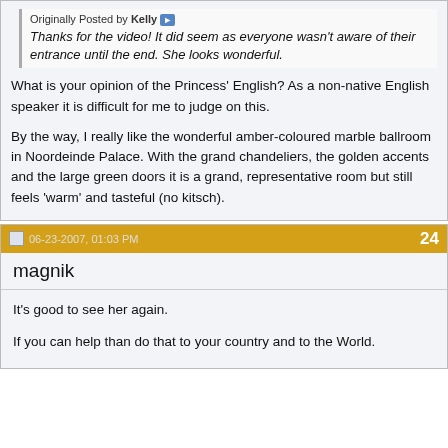Originally Posted by Kelly
Thanks for the video! It did seem as everyone wasn't aware of their entrance until the end. She looks wonderful.
What is your opinion of the Princess' English? As a non-native English speaker it is difficult for me to judge on this.

By the way, I really like the wonderful amber-coloured marble ballroom in Noordeinde Palace. With the grand chandeliers, the golden accents and the large green doors it is a grand, representative room but still feels 'warm' and tasteful (no kitsch).
06-23-2007, 01:03 PM   24
magnik
It's good to see her again.

If you can help than do that to your country and to the World.